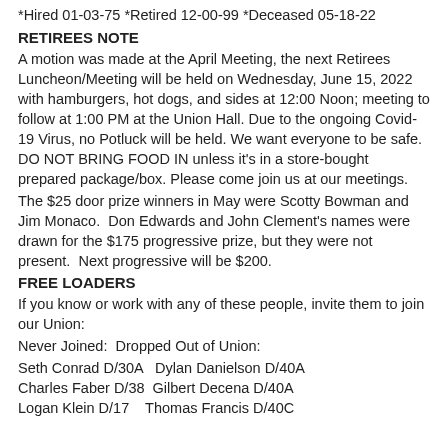*Hired 01-03-75 *Retired 12-00-99 *Deceased 05-18-22
RETIREES NOTE
A motion was made at the April Meeting, the next Retirees Luncheon/Meeting will be held on Wednesday, June 15, 2022 with hamburgers, hot dogs, and sides at 12:00 Noon; meeting to follow at 1:00 PM at the Union Hall. Due to the ongoing Covid-19 Virus, no Potluck will be held. We want everyone to be safe. DO NOT BRING FOOD IN unless it's in a store-bought prepared package/box. Please come join us at our meetings.
The $25 door prize winners in May were Scotty Bowman and Jim Monaco.  Don Edwards and John Clement's names were drawn for the $175 progressive prize, but they were not present.  Next progressive will be $200.
FREE LOADERS
If you know or work with any of these people, invite them to join our Union:
Never Joined: Dropped Out of Union:
Seth Conrad D/30A    Dylan Danielson D/40A
Charles Faber D/38   Gilbert Decena D/40A
Logan Klein D/17     Thomas Francis D/40C